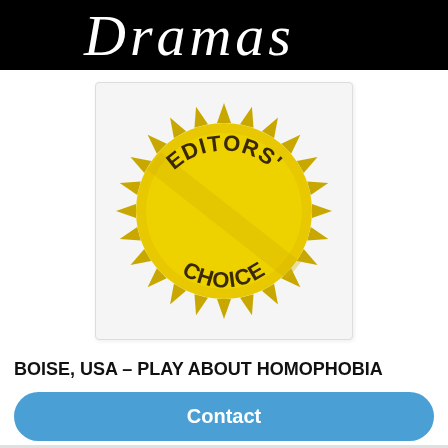[Figure (logo): Drama notebook/website logo — white handwritten cursive text 'Dramas' on black background]
[Figure (illustration): Gold/yellow sun-burst shaped Editors' Choice award seal badge with text 'EDITORS' CHOICE' embossed in dark lettering, on white background with light border]
BOISE, USA – PLAY ABOUT HOMOPHOBIA
Contact
homosexuality banned, with action placed in the 1960s in Boise,